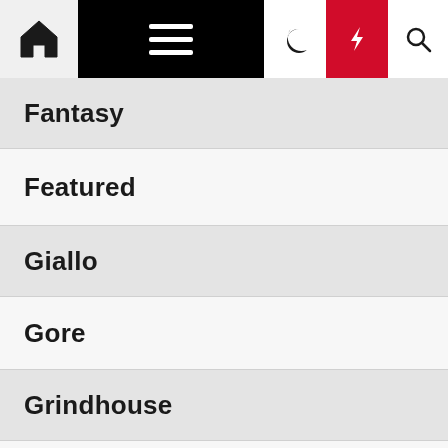[Figure (screenshot): Navigation bar with home icon, hamburger menu, moon icon, red lightning bolt icon, and search icon]
Fantasy
Featured
Giallo
Gore
Grindhouse
Horror
Incest
Mystery
Romance
Sci-Fi (partially visible)